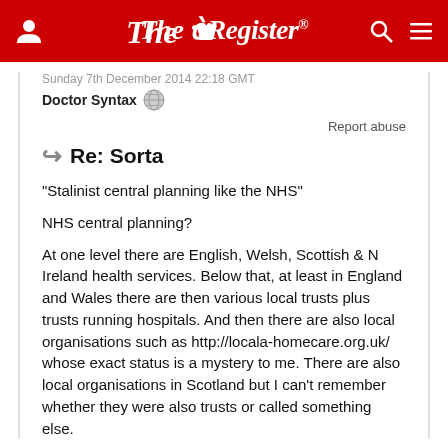The Register
Sunday 7th December 2014 22:18 GMT
Doctor Syntax
Report abuse
Re: Sorta
"Stalinist central planning like the NHS"
NHS central planning?
At one level there are English, Welsh, Scottish & N Ireland health services. Below that, at least in England and Wales there are then various local trusts plus trusts running hospitals. And then there are also local organisations such as http://locala-homecare.org.uk/ whose exact status is a mystery to me. There are also local organisations in Scotland but I can't remember whether they were also trusts or called something else.